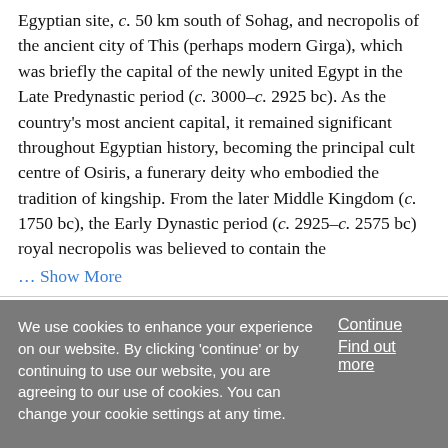Egyptian site, c. 50 km south of Sohag, and necropolis of the ancient city of This (perhaps modern Girga), which was briefly the capital of the newly united Egypt in the Late Predynastic period (c. 3000–c. 2925 bc). As the country's most ancient capital, it remained significant throughout Egyptian history, becoming the principal cult centre of Osiris, a funerary deity who embodied the tradition of kingship. From the later Middle Kingdom (c. 1750 bc), the Early Dynastic period (c. 2925–c. 2575 bc) royal necropolis was believed to contain the
... Show More
We use cookies to enhance your experience on our website. By clicking 'continue' or by continuing to use our website, you are agreeing to our use of cookies. You can change your cookie settings at any time.